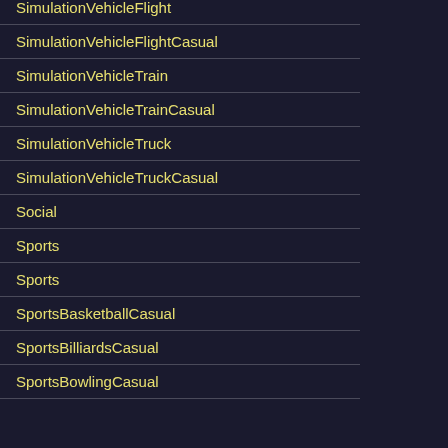SimulationVehicleFlight
SimulationVehicleFlightCasual
SimulationVehicleTrain
SimulationVehicleTrainCasual
SimulationVehicleTruck
SimulationVehicleTruckCasual
Social
Sports
Sports
SportsBasketballCasual
SportsBilliardsCasual
SportsBowlingCasual